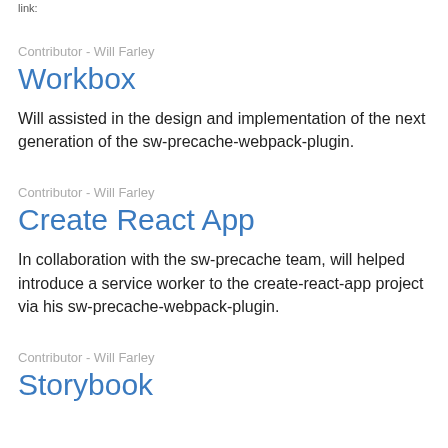link:
Contributor - Will Farley
Workbox
Will assisted in the design and implementation of the next generation of the sw-precache-webpack-plugin.
Contributor - Will Farley
Create React App
In collaboration with the sw-precache team, will helped introduce a service worker to the create-react-app project via his sw-precache-webpack-plugin.
Contributor - Will Farley
Storybook